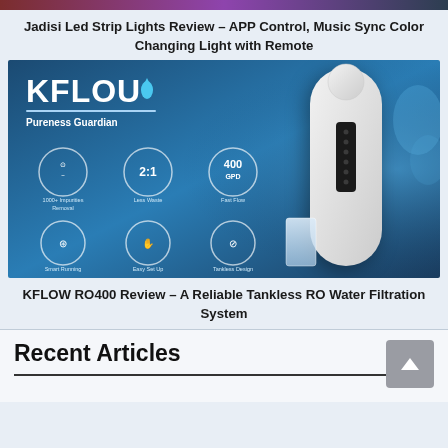[Figure (photo): Top strip image partially visible, colorful gradient background]
Jadisi Led Strip Lights Review – APP Control, Music Sync Color Changing Light with Remote
[Figure (photo): KFLOW RO400 water filtration system product image with logo, tagline 'Pureness Guardian', and feature icons: 1000+ Impurities Removal, 2:1 Less Waste, 400 GPD Fast Flow, Smart Running, Easy Set Up, Tankless Design]
KFLOW RO400 Review – A Reliable Tankless RO Water Filtration System
Recent Articles